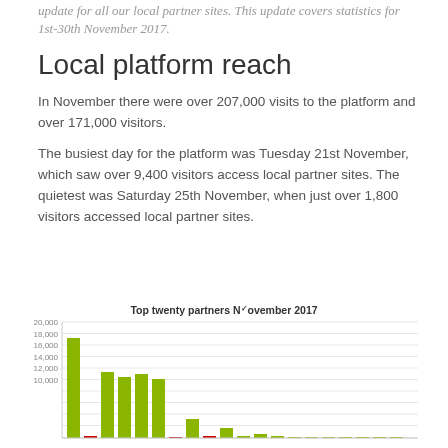update for all our local partner sites. This update covers statistics for 1st-30th November 2017.
Local platform reach
In November there were over 207,000 visits to the platform and over 171,000 visitors.
The busiest day for the platform was Tuesday 21st November, which saw over 9,400 visitors access local partner sites. The quietest was Saturday 25th November, when just over 1,800 visitors accessed local partner sites.
[Figure (bar-chart): Top twenty partners November 2017]